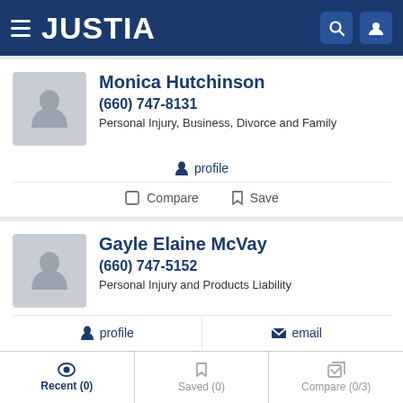JUSTIA
Monica Hutchinson
(660) 747-8131
Personal Injury, Business, Divorce and Family
profile
Compare   Save
Gayle Elaine McVay
(660) 747-5152
Personal Injury and Products Liability
profile   email
Recent (0)   Saved (0)   Compare (0/3)